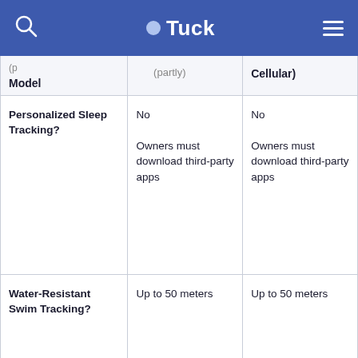Tuck
| Model | (partially visible col 2) | Cellular) |
| --- | --- | --- |
| Personalized Sleep Tracking? | No

Owners must download third-party apps | No

Owners must download third-party apps |
| Water-Resistant Swim Tracking? | Up to 50 meters | Up to 50 meters |
| Heart Rate | Optical only | Optical only |